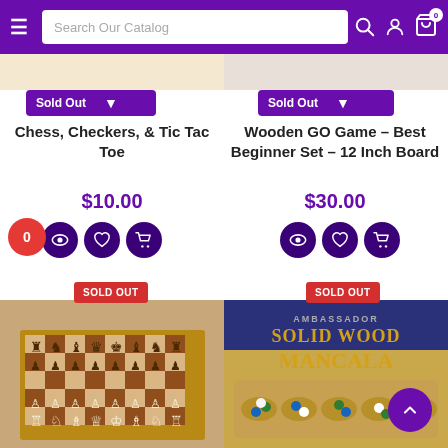Search Our Catalog
Sold Out
Chess, Checkers, & Tic Tac Toe
$10.00
Sold Out
Wooden GO Game – Best Beginner Set – 12 Inch Board
$30.00
[Figure (photo): Chess set on wooden board with pieces arranged, SOLD OUT badge]
[Figure (photo): Solid Wood Mancala game box with marbles, SOLD OUT badge]